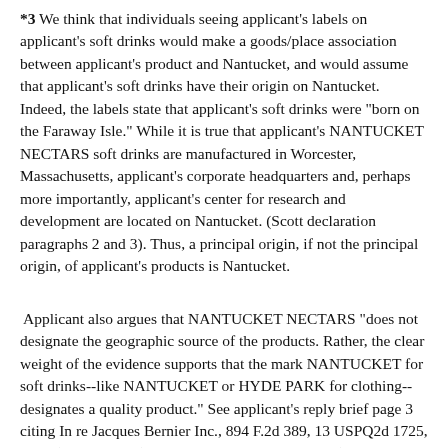*3 We think that individuals seeing applicant's labels on applicant's soft drinks would make a goods/place association between applicant's product and Nantucket, and would assume that applicant's soft drinks have their origin on Nantucket. Indeed, the labels state that applicant's soft drinks were "born on the Faraway Isle." While it is true that applicant's NANTUCKET NECTARS soft drinks are manufactured in Worcester, Massachusetts, applicant's corporate headquarters and, perhaps more importantly, applicant's center for research and development are located on Nantucket. (Scott declaration paragraphs 2 and 3). Thus, a principal origin, if not the principal origin, of applicant's products is Nantucket.
Applicant also argues that NANTUCKET NECTARS "does not designate the geographic source of the products. Rather, the clear weight of the evidence supports that the mark NANTUCKET for soft drinks--like NANTUCKET or HYDE PARK for clothing--designates a quality product." See applicant's reply brief page 3 citing In re Jacques Bernier Inc., 894 F.2d 389, 13 USPQ2d 1725, 1727 (Fed.Cir.1990). However, in Jacques Bernier (the RODEO DRIVE case), the court stated that nothing "suggests that the consuming public would believe that